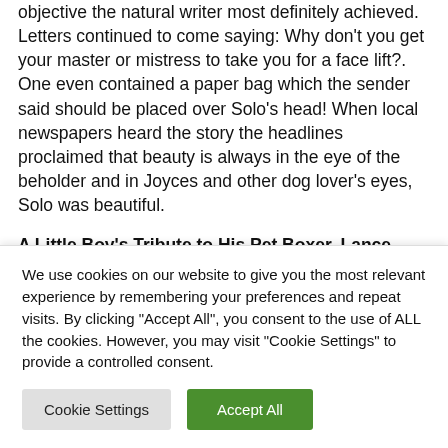objective the natural writer most definitely achieved. Letters continued to come saying: Why don't you get your master or mistress to take you for a face lift?. One even contained a paper bag which the sender said should be placed over Solo's head! When local newspapers heard the story the headlines proclaimed that beauty is always in the eye of the beholder and in Joyces and other dog lover's eyes, Solo was beautiful.
A Little Boy's Tribute to His Pet Boxer, Lance
This story appeared in The Faithful Friend (Writings About Owning and Loving Pets) and concerned dog owners in the
We use cookies on our website to give you the most relevant experience by remembering your preferences and repeat visits. By clicking "Accept All", you consent to the use of ALL the cookies. However, you may visit "Cookie Settings" to provide a controlled consent.